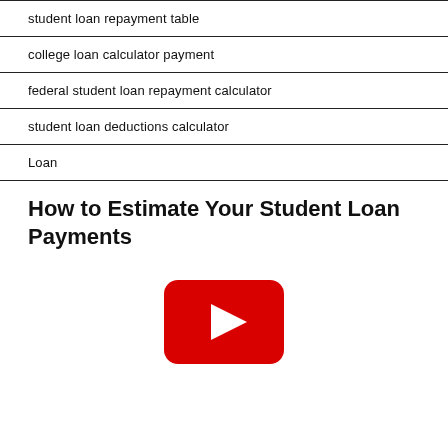student loan repayment table
college loan calculator payment
federal student loan repayment calculator
student loan deductions calculator
Loan
How to Estimate Your Student Loan Payments
[Figure (other): YouTube play button icon in red rounded rectangle]